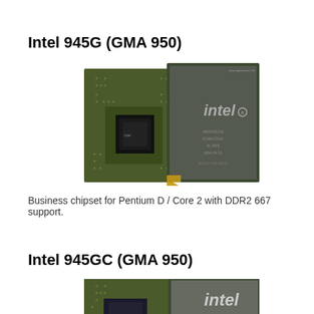Intel 945G (GMA 950)
[Figure (photo): Photo of Intel 945G (GMA 950) chipset - two chips on green PCB, one showing bare die and one with Intel branding on dark gray heat spreader]
Business chipset for Pentium D / Core 2 with DDR2 667 support.
Intel 945GC (GMA 950)
[Figure (photo): Photo of Intel 945GC (GMA 950) chipset - two chips showing green PCB with bare die and Intel branded chip, partially cropped at bottom of page]